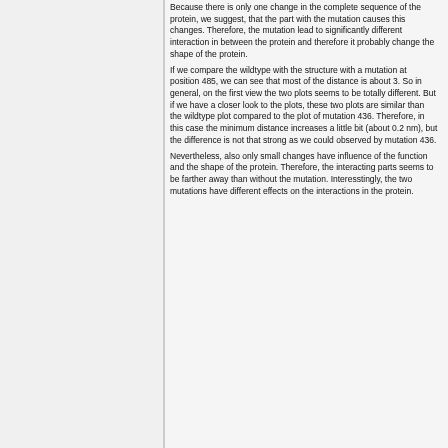Because there is only one change in the complete sequence of the protein, we suggest, that the part with the mutation causes this changes. Therefore, the mutation lead to significantly different interaction in between the protein and therefore it probably change the shape of the protein. If we compare the wildtype with the structure with a mutation at position 485, we can see that most of the distance is about 3. So in general, on the first view the two plots seems to be totally different. But if we have a closer look to the plots, these two plots are similar than the wildtype plot compared to the plot of mutation 436. Therefore, in this case the minimum distance increases a little bit (about 0.2 nm), but the difference is not that strong as we could observed by mutation 436. Nevertheless, also only small changes have influence of the function and the shape of the protein. Therefore, the interacting parts seems to be farther away than without the mutation. Interesstingly, the two mutations have different effects on the interactions in the protein.